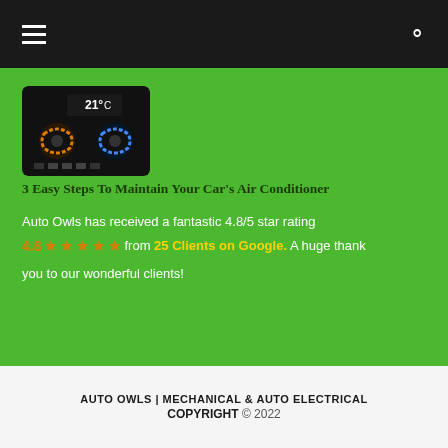Navigation header with hamburger menu and search icon
[Figure (photo): Car air conditioning control panel showing 21°C temperature display with blue and orange dial controls on dark background]
3 Easy Steps To Maintain Your Car's Air Conditioner
Auto Owls has received a fantastic 4.8/5 star rating 4.8 ★★★★★ from 25 Clients on Google. A huge thank you to our wonderful clients!
AUTO OWLS | MECHANICAL & AUTO ELECTRICAL COPYRIGHT © 2022